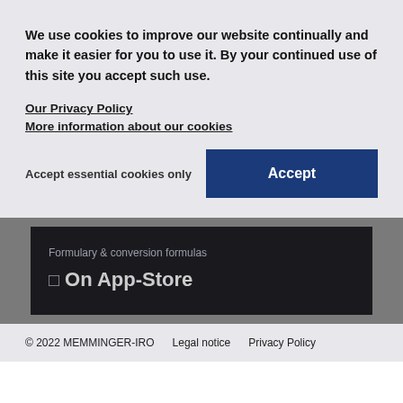We use cookies to improve our website continually and make it easier for you to use it. By your continued use of this site you accept such use.
Our Privacy Policy
More information about our cookies
Accept essential cookies only
Accept
Formulary & conversion formulas
On App-Store
© 2022 MEMMINGER-IRO   Legal notice   Privacy Policy